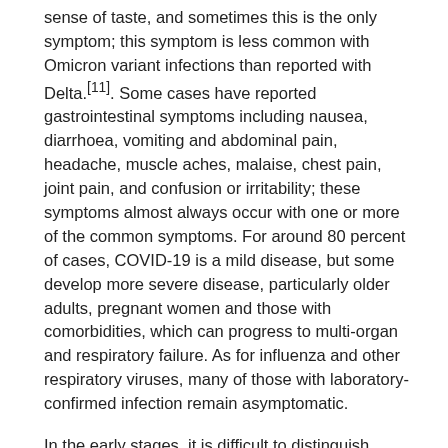sense of taste, and sometimes this is the only symptom; this symptom is less common with Omicron variant infections than reported with Delta.[11]. Some cases have reported gastrointestinal symptoms including nausea, diarrhoea, vomiting and abdominal pain, headache, muscle aches, malaise, chest pain, joint pain, and confusion or irritability; these symptoms almost always occur with one or more of the common symptoms. For around 80 percent of cases, COVID-19 is a mild disease, but some develop more severe disease, particularly older adults, pregnant women and those with comorbidities, which can progress to multi-organ and respiratory failure. As for influenza and other respiratory viruses, many of those with laboratory-confirmed infection remain asymptomatic.
In the early stages, it is difficult to distinguish COVID-19 from other common viral infections and, as of early 2022, the most reliable diagnostic test has been detection of viral mRNA from a nasopharyngeal swab, using PCR assay. Further methods of testing (such as saliva sampling and rapid antigen/lateral flow tests) are being increasingly used. SARS-CoV-2 serology can help distinguish historic disease from mild current symptoms but is not in routine use.
The incubation period is typically around two to five days (up to 14 days). Individuals may be infectious from up to two days before